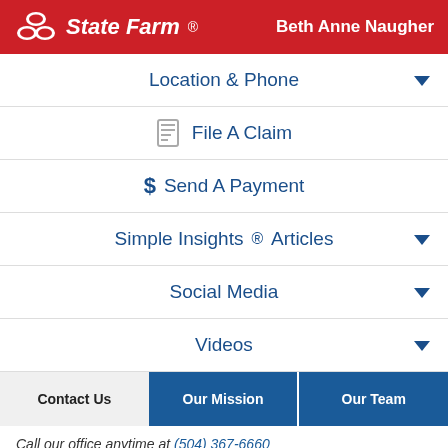State Farm — Beth Anne Naugher
Location & Phone
File A Claim
Send A Payment
Simple Insights® Articles
Social Media
Videos
Contact Us | Our Mission | Our Team
Call our office anytime at (504) 367-6660
How should we contact you?